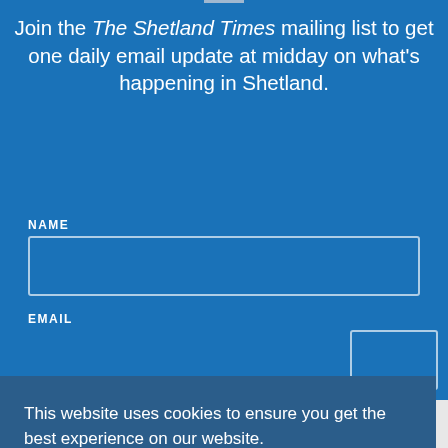Join the The Shetland Times mailing list to get one daily email update at midday on what's happening in Shetland.
NAME
EMAIL
This website uses cookies to ensure you get the best experience on our website.
Learn more
Got it!
[Figure (logo): The Shetland Times logo in italic script at the bottom of the page]